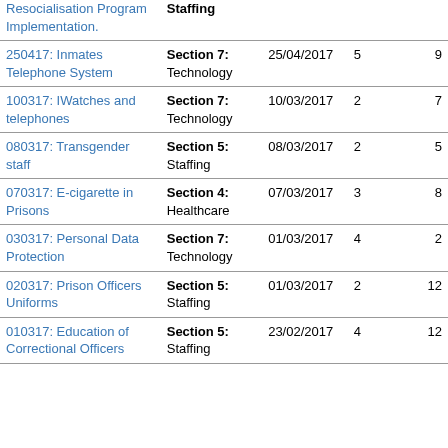| Resocialisation Program Implementation. | Staffing |  |  |  |
| 250417: Inmates Telephone System | Section 7: Technology | 25/04/2017 | 5 | 9 |
| 100317: IWatches and telephones | Section 7: Technology | 10/03/2017 | 2 | 7 |
| 080317: Transgender staff | Section 5: Staffing | 08/03/2017 | 2 | 5 |
| 070317: E-cigarette in Prisons | Section 4: Healthcare | 07/03/2017 | 3 | 8 |
| 030317: Personal Data Protection | Section 7: Technology | 01/03/2017 | 4 | 2 |
| 020317: Prison Officers Uniforms | Section 5: Staffing | 01/03/2017 | 2 | 12 |
| 010317: Education of Correctional Officers | Section 5: Staffing | 23/02/2017 | 4 | 12 |